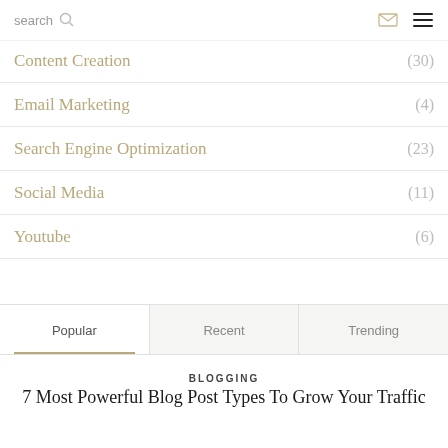search
Content Creation (30)
Email Marketing (4)
Search Engine Optimization (23)
Social Media (11)
Youtube (6)
Popular | Recent | Trending
BLOGGING
7 Most Powerful Blog Post Types To Grow Your Traffic